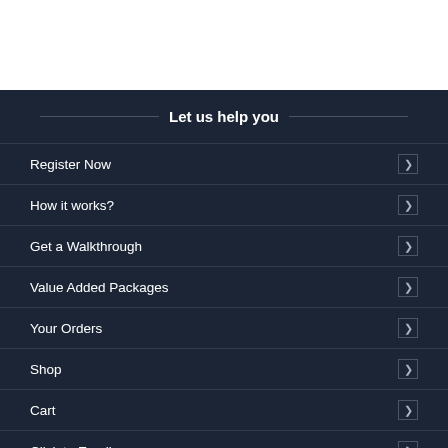Let us help you
Register Now
How it works?
Get a Walkthrough
Value Added Packages
Your Orders
Shop
Cart
Click to Email
Phone: +91 98670 01913